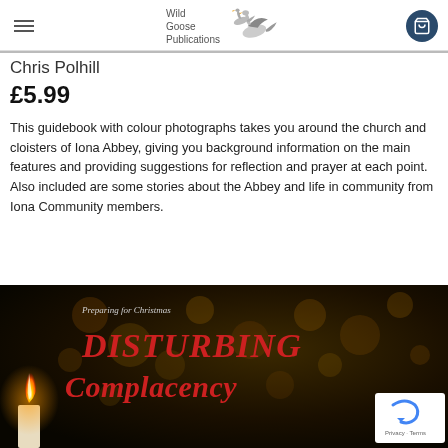Wild Goose Publications — navigation bar with hamburger menu and cart
Chris Polhill
£5.99
This guidebook with colour photographs takes you around the church and cloisters of Iona Abbey, giving you background information on the main features and providing suggestions for reflection and prayer at each point. Also included are some stories about the Abbey and life in community from Iona Community members.
[Figure (photo): Book cover for 'Disturbing Complacency - Preparing for Christmas' with dark bokeh background, candle flame, and red italic title text]